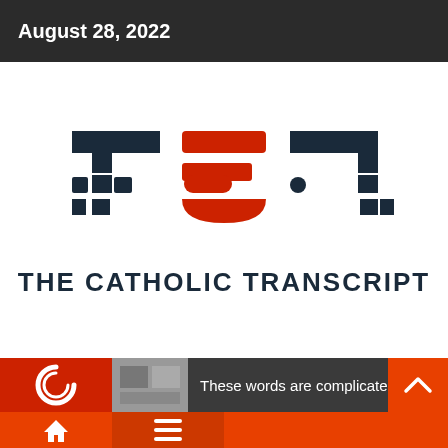August 28, 2022
[Figure (logo): The Catholic Transcript logo — stylized TCT monogram with dark navy and red geometric letterforms above the text THE CATHOLIC TRANSCRIPT]
THE CATHOLIC TRANSCRIPT
These words are complicated, but not really
Navigation bar with home and menu icons